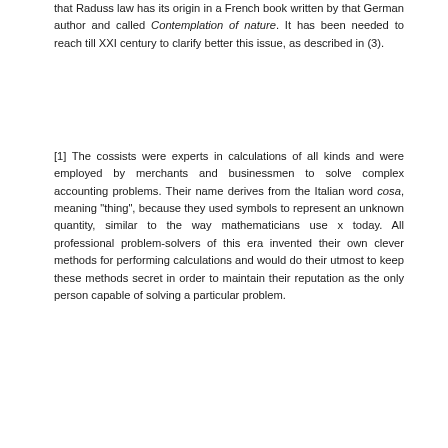that Raduss law has its origin in a French book written by that German author and called Contemplation of nature. It has been needed to reach till XXI century to clarify better this issue, as described in (3).
[1] The cossists were experts in calculations of all kinds and were employed by merchants and businessmen to solve complex accounting problems. Their name derives from the Italian word cosa, meaning "thing", because they used symbols to represent an unknown quantity, similar to the way mathematicians use x today. All professional problem-solvers of this era invented their own clever methods for performing calculations and would do their utmost to keep these methods secret in order to maintain their reputation as the only person capable of solving a particular problem.